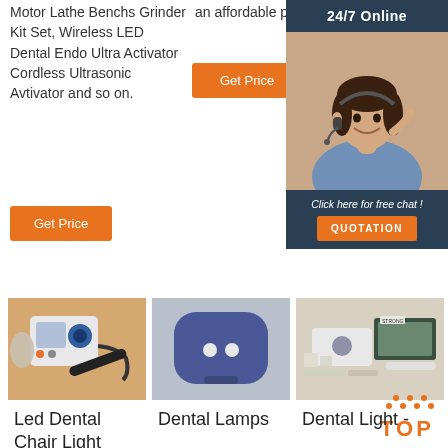Motor Lathe Benchs Grinder Kit Set, Wireless LED Dental Endo Ultra Activator Cordless Ultrasonic Avtivator and so on.
an affordable price.
[Figure (illustration): Orange 'Get Price' button (mid column)]
[Figure (illustration): 24/7 Online sidebar with agent photo, 'Click here for free chat!' text and QUOTATION button]
[Figure (illustration): Orange 'Get Price' button (left column)]
[Figure (photo): Led Dental Chair Light product image - a dental drilling/polishing machine with handpiece]
Led Dental Chair Light
[Figure (photo): Dental Lamps product image - a blue handheld dental lamp device]
Dental Lamps
[Figure (photo): Dental Light - product image showing a kit with components and strong logo]
Dental Light -